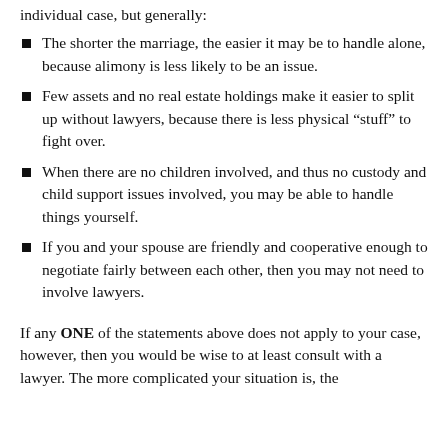individual case, but generally:
The shorter the marriage, the easier it may be to handle alone, because alimony is less likely to be an issue.
Few assets and no real estate holdings make it easier to split up without lawyers, because there is less physical “stuff” to fight over.
When there are no children involved, and thus no custody and child support issues involved, you may be able to handle things yourself.
If you and your spouse are friendly and cooperative enough to negotiate fairly between each other, then you may not need to involve lawyers.
If any ONE of the statements above does not apply to your case, however, then you would be wise to at least consult with a lawyer. The more complicated your situation is, the